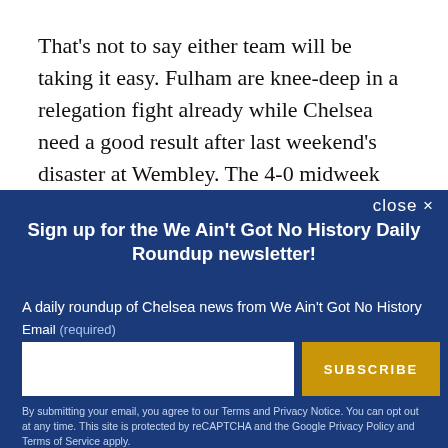That's not to say either team will be taking it easy. Fulham are knee-deep in a relegation fight already while Chelsea need a good result after last weekend's disaster at Wembley. The 4-0 midweek beatdown of PAOK was good, but it was essentially a meaningless
close ×
Sign up for the We Ain't Got No History Daily Roundup newsletter!
A daily roundup of Chelsea news from We Ain't Got No History
Email (required)
SUBSCRIBE
By submitting your email, you agree to our Terms and Privacy Notice. You can opt out at any time. This site is protected by reCAPTCHA and the Google Privacy Policy and Terms of Service apply.